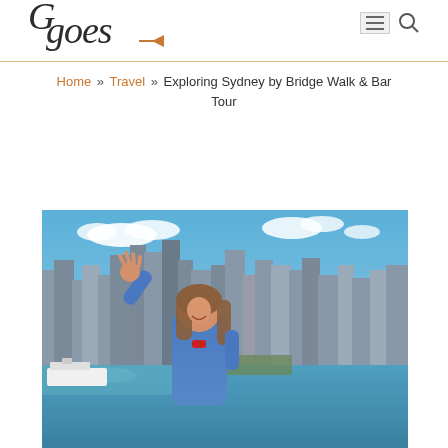Goes [travel blog logo with arrow]
Home » Travel » Exploring Sydney by Bridge Walk & Bar Tour
[Figure (photo): Woman in blue jacket with arm raised waving, standing atop the Sydney Harbour Bridge with the Sydney city skyline, harbour, and water visible in the background on a partly cloudy day.]